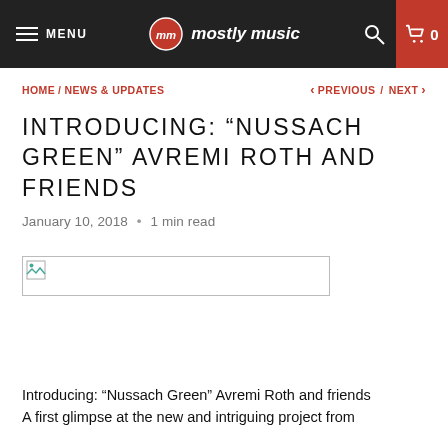MENU  mostly music  0
HOME / NEWS & UPDATES  < PREVIOUS / NEXT >
INTRODUCING: “NUSSACH GREEN” AVREMI ROTH AND FRIENDS
January 10, 2018 • 1 min read
[Figure (photo): Broken image placeholder]
Introducing: “Nussach Green” Avremi Roth and friends
A first glimpse at the new and intriguing project from